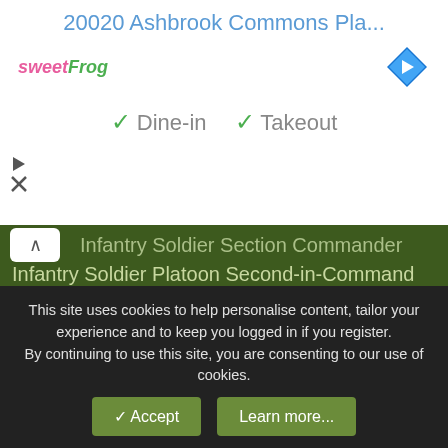20020 Ashbrook Commons Pla...
[Figure (logo): sweetFrog logo and navigation arrow icon]
✓ Dine-in  ✓ Takeout
▲ Infantry Soldier Section Commander
Infantry Soldier Platoon Second-in-Command
Infantry Soldier Company Sergeant-Major
Communicator
Reconnaissance Patrolling
Anti-Armour Gunner
Sniper
Section Commander
Eryx Gunner
Machinegunner (Heavy and General Purpose)
Small Arms Coach
25mm Gunner and light armoured vehicle Crew Commander
Winter (Arctic) and Jungle Operations
This site uses cookies to help personalise content, tailor your experience and to keep you logged in if you register.
By continuing to use this site, you are consenting to our use of cookies.
✓ Accept    Learn more...